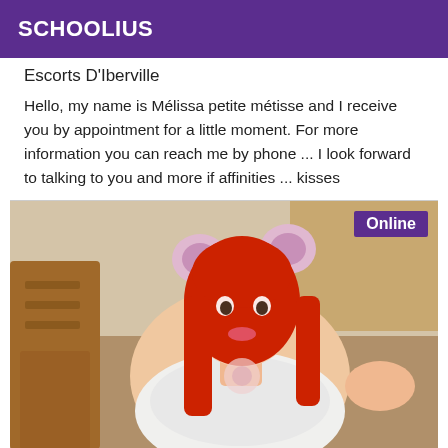SCHOOLIUS
Escorts D'Iberville
Hello, my name is Mélissa petite métisse and I receive you by appointment for a little moment. For more information you can reach me by phone ... I look forward to talking to you and more if affinities ... kisses
[Figure (photo): Young woman with red hair wearing a bear ear headband and a white lace top, seated indoors near wooden furniture. An 'Online' badge is shown in the top right corner.]